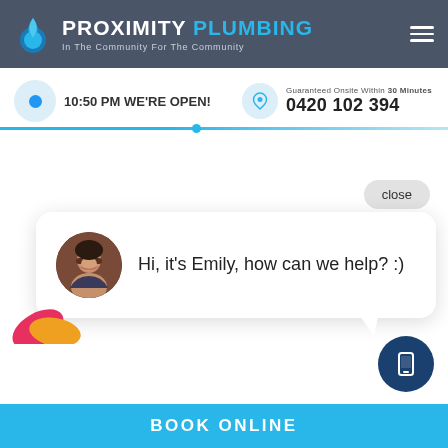[Figure (screenshot): Proximity Plumbing website header with logo, navigation, open status, phone number, chat widget, and Book Online footer bar]
PROXIMITY PLUMBING
In The Community For The Community
10:50 PM WE'RE OPEN!
Guaranteed Onsite Within 30 Minutes
0420 102 394
close
Hi, it's Emily, how can we help? :)
BOOK ONLINE